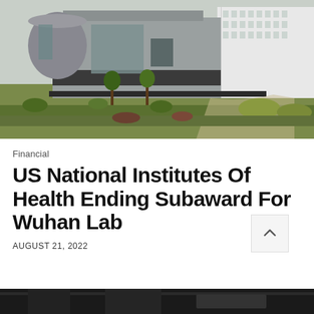[Figure (photo): Aerial photograph of the Wuhan Institute of Virology building complex, a modern grey concrete structure with green landscaping, pathways, and trees surrounding it.]
Financial
US National Institutes Of Health Ending Subaward For Wuhan Lab
AUGUST 21, 2022
[Figure (photo): Partial view of a second photograph at the bottom, showing a dark interior or exterior scene, partially cropped.]